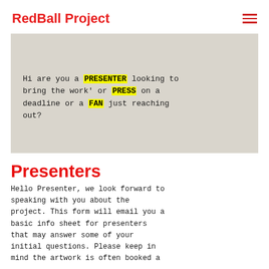RedBall Project
[Figure (screenshot): Light beige/grey hero box containing monospace text: 'Hi are you a PRESENTER looking to bring the work' or PRESS on a deadline or a FAN just reaching out?' with PRESENTER, PRESS, and FAN highlighted in yellow.]
Presenters
Hello Presenter, we look forward to speaking with you about the project. This form will email you a basic info sheet for presenters that may answer some of your initial questions. Please keep in mind the artwork is often booked a